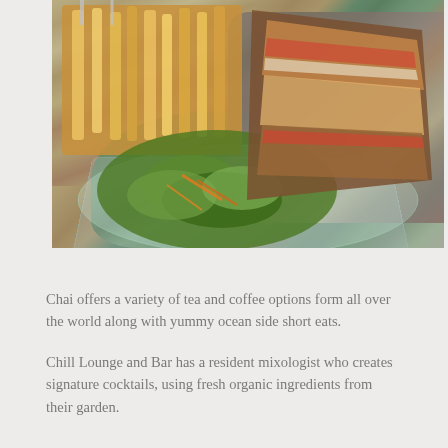[Figure (photo): A plate of club sandwiches on whole wheat bread with French fries and a green salad with shredded carrots, served on a glass tray on a blue tablecloth. Cutlery visible in the background.]
Chai offers a variety of tea and coffee options form all over the world along with yummy ocean side short eats.
Chill Lounge and Bar has a resident mixologist who creates signature cocktails, using fresh organic ingredients from their garden.